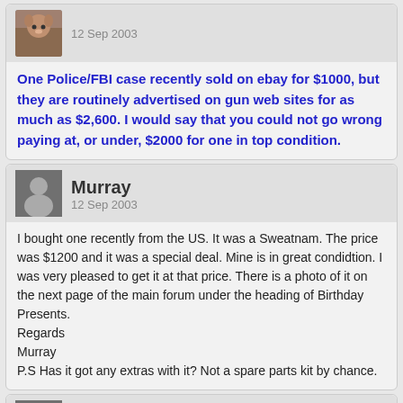12 Sep 2003
One Police/FBI case recently sold on ebay for $1000, but they are routinely advertised on gun web sites for as much as $2,600. I would say that you could not go wrong paying at, or under, $2000 for one in top condition.
Murray
12 Sep 2003
I bought one recently from the US. It was a Sweatnam. The price was $1200 and it was a special deal. Mine is in great condidtion. I was very pleased to get it at that price. There is a photo of it on the next page of the main forum under the heading of Birthday Presents.
Regards
Murray
P.S Has it got any extras with it? Not a spare parts kit by chance.
Murray
14 Sep 2003
Here is a photo of my Sweatnam FBI case as requested.
[Figure (photo): user posted image (broken image placeholder)]